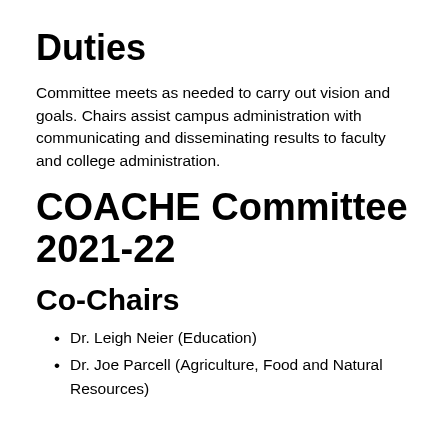Duties
Committee meets as needed to carry out vision and goals. Chairs assist campus administration with communicating and disseminating results to faculty and college administration.
COACHE Committee 2021-22
Co-Chairs
Dr. Leigh Neier (Education)
Dr. Joe Parcell (Agriculture, Food and Natural Resources)